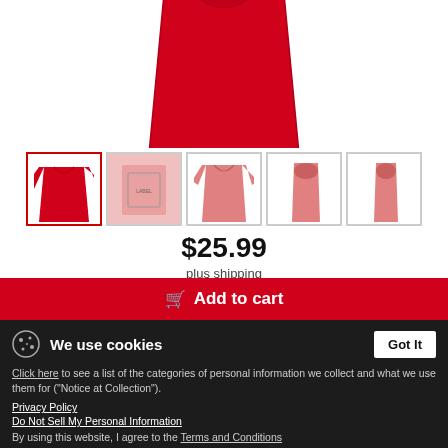[Figure (photo): Close-up of red t-shirt product image, top portion visible]
[Figure (photo): Row of 5 product thumbnails showing red t-shirt from different angles]
$25.99
plus shipping
Add to cart
We use cookies
Click here to see a list of the categories of personal information we collect and what we use them for ("Notice at Collection").
Privacy Policy
Do Not Sell My Personal Information
By using this website, I agree to the Terms and Conditions